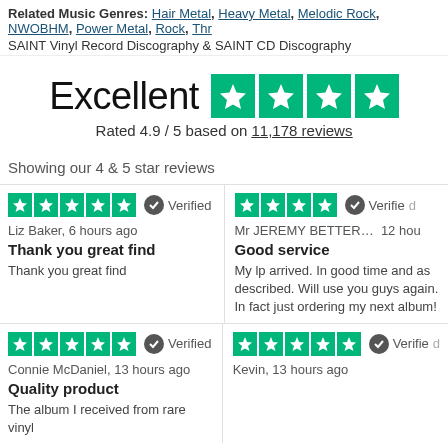Related Music Genres: Hair Metal, Heavy Metal, Melodic Rock, NWOBHM, Power Metal, Rock, Thr...
SAINT Vinyl Record Discography & SAINT CD Discography
Excellent
Rated 4.9 / 5 based on 11,178 reviews
Showing our 4 & 5 star reviews
Liz Baker, 6 hours ago
Thank you great find
Thank you great find
Mr JEREMY BETTER... 12 hou...
Good service
My lp arrived. In good time and as described. Will use you guys again. In fact just ordering my next album!
Connie McDaniel, 13 hours ago
Quality product
The album I received from rare vinyl
Kevin, 13 hours ago